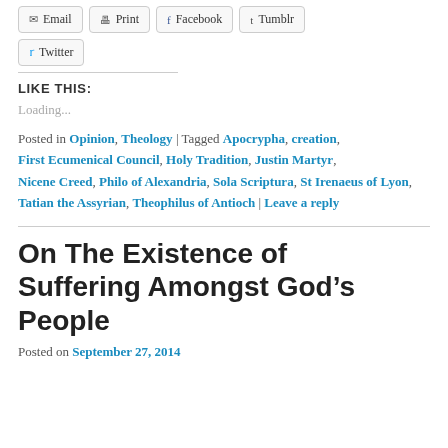Email
Print
Facebook
Tumblr
Twitter
LIKE THIS:
Loading...
Posted in Opinion, Theology | Tagged Apocrypha, creation, First Ecumenical Council, Holy Tradition, Justin Martyr, Nicene Creed, Philo of Alexandria, Sola Scriptura, St Irenaeus of Lyon, Tatian the Assyrian, Theophilus of Antioch | Leave a reply
On The Existence of Suffering Amongst God’s People
Posted on September 27, 2014